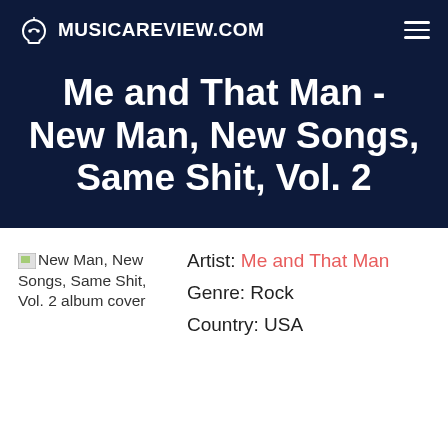MUSICAREVIEW.COM
Me and That Man - New Man, New Songs, Same Shit, Vol. 2
[Figure (photo): New Man, New Songs, Same Shit, Vol. 2 album cover (broken image placeholder)]
Artist: Me and That Man
Genre: Rock
Country: USA